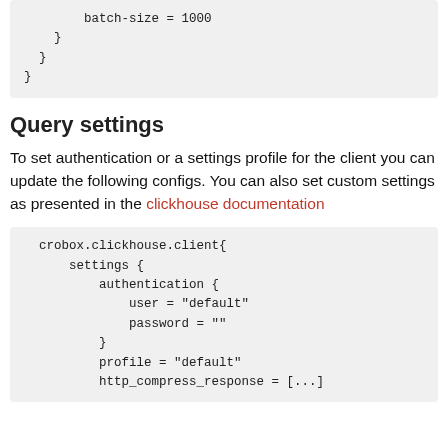batch-size = 1000
    }
  }
}
Query settings
To set authentication or a settings profile for the client you can update the following configs. You can also set custom settings as presented in the clickhouse documentation
crobox.clickhouse.client{
    settings {
        authentication {
            user = "default"
            password = ""
        }
        profile = "default"
        http_compress_response = [...]